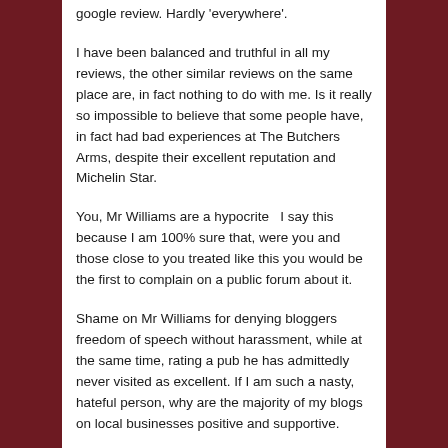google review. Hardly 'everywhere'.
I have been balanced and truthful in all my reviews, the other similar reviews on the same place are, in fact nothing to do with me. Is it really so impossible to believe that some people have, in fact had bad experiences at The Butchers Arms, despite their excellent reputation and Michelin Star.
You, Mr Williams are a hypocrite  I say this because I am 100% sure that, were you and those close to you treated like this you would be the first to complain on a public forum about it.
Shame on Mr Williams for denying bloggers freedom of speech without harassment, while at the same time, rating a pub he has admittedly never visited as excellent. If I am such a nasty, hateful person, why are the majority of my blogs on local businesses positive and supportive.
When I, or the people I care about are attacked, I write